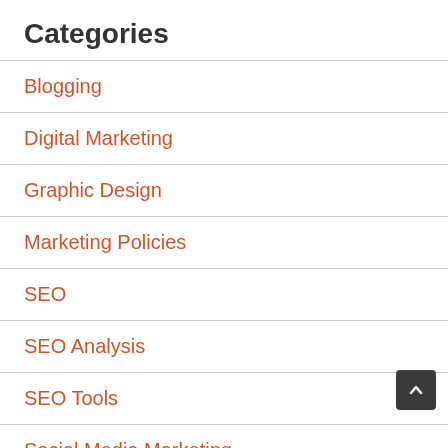Categories
Blogging
Digital Marketing
Graphic Design
Marketing Policies
SEO
SEO Analysis
SEO Tools
Social Media Marketing